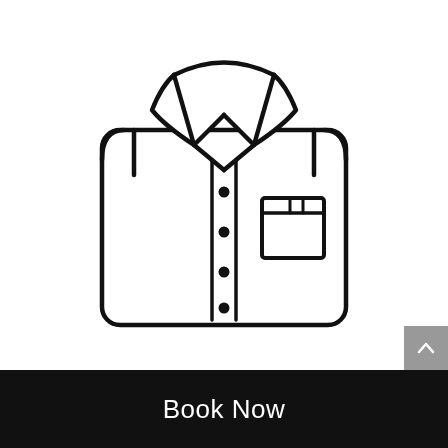[Figure (illustration): Line art icon of a folded dress shirt with collar, button-down placket with 4 buttons, and a chest pocket on the right side. The shirt is folded neatly with rounded corners on the bottom.]
Book Now